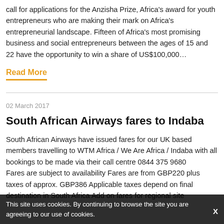call for applications for the Anzisha Prize, Africa's award for youth entrepreneurs who are making their mark on Africa's entrepreneurial landscape. Fifteen of Africa's most promising business and social entrepreneurs between the ages of 15 and 22 have the opportunity to win a share of US$100,000…
Read More
02 March 2017
South African Airways fares to Indaba
South African Airways have issued fares for our UK based members travelling to WTM Africa / We Are Africa / Indaba with all bookings to be made via their call centre 0844 375 9680
Fares are subject to availability Fares are from GBP220 plus taxes of approx. GBP386 Applicable taxes depend on final destination in South Africa Add on fares for regional site
This site uses cookies. By continuing to browse the site you are agreeing to our use of cookies.